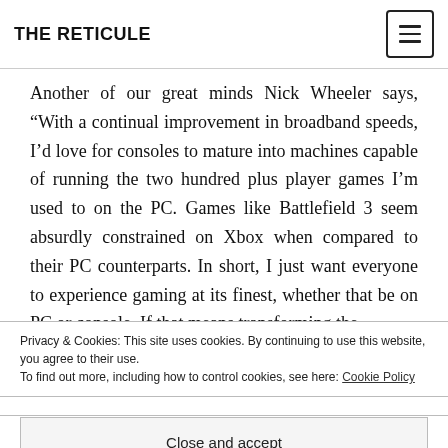THE RETICULE
Another of our great minds Nick Wheeler says, “With a continual improvement in broadband speeds, I’d love for consoles to mature into machines capable of running the two hundred plus player games I’m used to on the PC. Games like Battlefield 3 seem absurdly constrained on Xbox when compared to their PC counterparts. In short, I just want everyone to experience gaming at its finest, whether that be on PC or console. If that means transforming the
Privacy & Cookies: This site uses cookies. By continuing to use this website, you agree to their use.
To find out more, including how to control cookies, see here: Cookie Policy
Close and accept
all about PC power advancing way above that of any